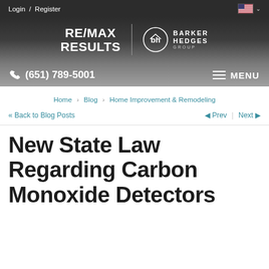Login / Register
[Figure (logo): RE/MAX Results and Barker Hedges Group logo in dark header]
(651) 789-5001   MENU
Home > Blog > Home Improvement & Remodeling
<< Back to Blog Posts   Prev  Next
New State Law Regarding Carbon Monoxide Detectors